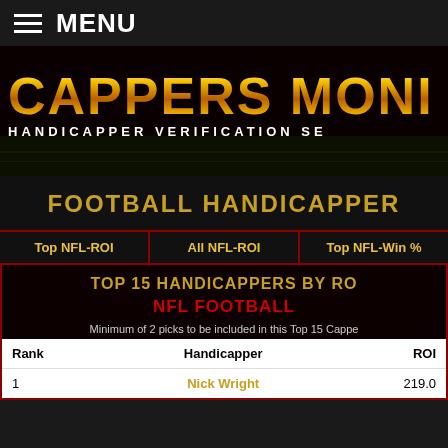MENU
[Figure (screenshot): Cappers Moni - Handicapper Verification Service banner with gold text on dark background with football field silhouette]
FOOTBALL HANDICAPPER
Top NFL-ROI
All NFL-ROI
Top NFL-Win %
TOP 15 HANDICAPPERS BY ROI - NFL FOOTBALL
Minimum of 2 picks to be included in this Top 15 Cappe...
| Rank | Handicapper | ROI |
| --- | --- | --- |
| 1 | Nick Wright | 219.0 |